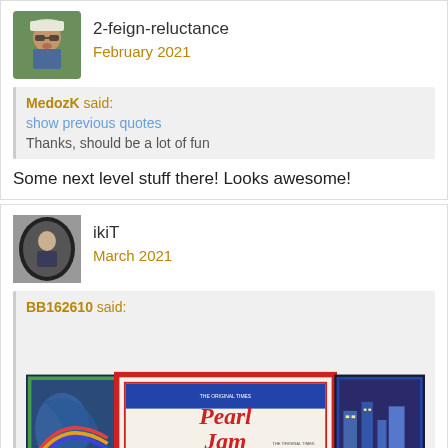2-feign-reluctance
February 2021
MedozK said:
show previous quotes
Thanks, should be a lot of fun
Some next level stuff there! Looks awesome!
ikiT
March 2021
BB162610 said:
[Figure (photo): Photo of framed Pearl Jam poster and other framed music posters on a wall]